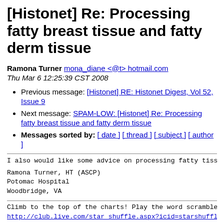[Histonet] Re: Processing fatty breast tissue and fatty derm tissue
Ramona Turner mona_diane <@t> hotmail.com
Thu Mar 6 12:25:39 CST 2008
Previous message: [Histonet] RE: Histonet Digest, Vol 52, Issue 9
Next message: SPAM-LOW: [Histonet] Re: Processing fatty breast tissue and fatty derm tissue
Messages sorted by: [ date ] [ thread ] [ subject ] [ author ]
I also would like some advice on processing fatty tissue
Ramona Turner, HT (ASCP)
Potomac Hospital
Woodbridge, VA
Climb to the top of the charts! Play the word scramble ch
http://club.live.com/star_shuffle.aspx?icid=starshuffle_w